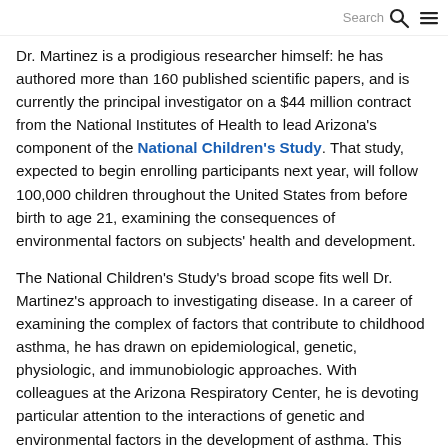Search ☰
Dr. Martinez is a prodigious researcher himself: he has authored more than 160 published scientific papers, and is currently the principal investigator on a $44 million contract from the National Institutes of Health to lead Arizona's component of the National Children's Study. That study, expected to begin enrolling participants next year, will follow 100,000 children throughout the United States from before birth to age 21, examining the consequences of environmental factors on subjects' health and development.
The National Children's Study's broad scope fits well Dr. Martinez's approach to investigating disease. In a career of examining the complex of factors that contribute to childhood asthma, he has drawn on epidemiological, genetic, physiologic, and immunobiologic approaches. With colleagues at the Arizona Respiratory Center, he is devoting particular attention to the interactions of genetic and environmental factors in the development of asthma. This…